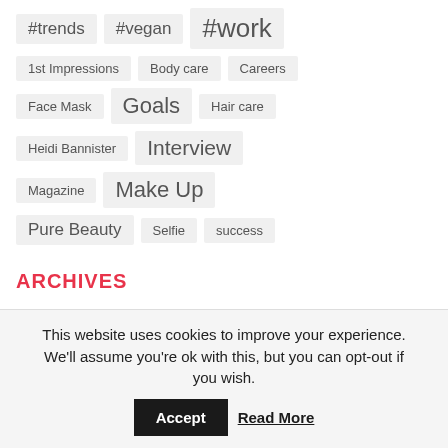#trends
#vegan
#work
1st Impressions
Body care
Careers
Face Mask
Goals
Hair care
Heidi Bannister
Interview
Magazine
Make Up
Pure Beauty
Selfie
success
ARCHIVES
April 2022
March 2022
This website uses cookies to improve your experience. We'll assume you're ok with this, but you can opt-out if you wish. Accept Read More